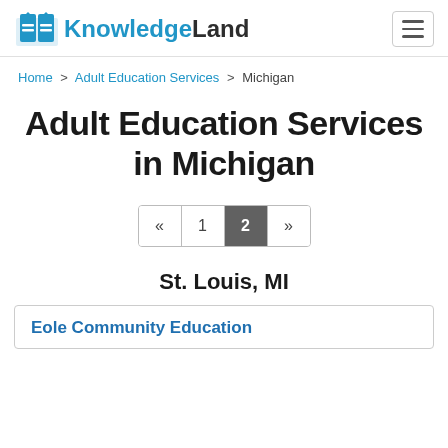KnowledgeLand
Home > Adult Education Services > Michigan
Adult Education Services in Michigan
« 1 2 »
St. Louis, MI
Eole Community Education